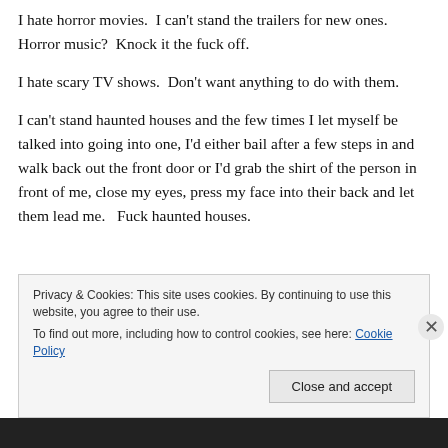I hate horror movies.  I can't stand the trailers for new ones.  Horror music?  Knock it the fuck off.
I hate scary TV shows.  Don't want anything to do with them.
I can't stand haunted houses and the few times I let myself be talked into going into one, I'd either bail after a few steps in and walk back out the front door or I'd grab the shirt of the person in front of me, close my eyes, press my face into their back and let them lead me.   Fuck haunted houses.
Privacy & Cookies: This site uses cookies. By continuing to use this website, you agree to their use.
To find out more, including how to control cookies, see here: Cookie Policy
Close and accept